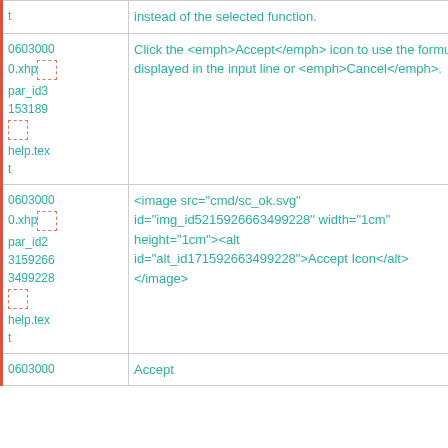| ID | Content |
| --- | --- |
| t | instead of the selected function. |
| 06030000.xhp
par_id3153189
[icon]
help.text | Click the <emph>Accept</emph> icon to use the formula displayed in the input line or <emph>Cancel</emph>. |
| 06030000.xhp
par_id23159266
3499228
[icon]
help.text | <image src="cmd/sc_ok.svg" id="img_id5215926663499228" width="1cm" height="1cm"><alt id="alt_id171592663499228">Accept Icon</alt>
</antml:image> |
| 06030000 | Accept |